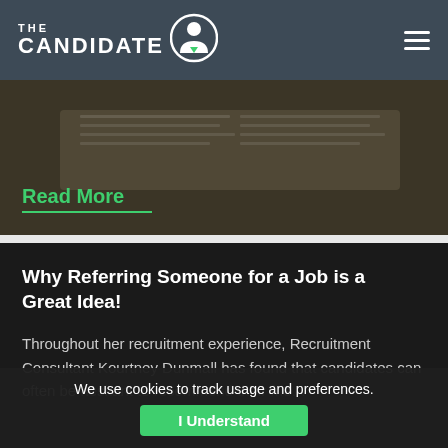THE CANDIDATE
[Figure (photo): Dark background image of an open book, with 'Read More' link and green underline overlay at bottom left]
Read More
Why Referring Someone for a Job is a Great Idea!
Throughout her recruitment experience, Recruitment Consultant Kourtney Dunmall has found that candidates can often be hesitant to recommend their frie…
We use cookies to track usage and preferences.
I Understand